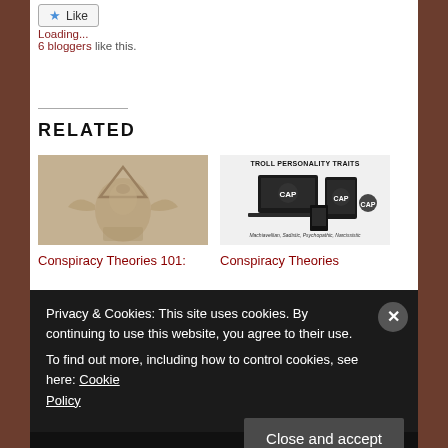Like
Loading... 6 bloggers like this.
RELATED
[Figure (photo): Stone carving with eye-in-triangle symbol (All-seeing Eye), appears to be a Masonic or conspiracy-themed relief sculpture in beige/tan stone.]
Conspiracy Theories 101:
[Figure (infographic): Troll Personality Traits infographic showing devices (laptop, tablet, phone) with logos and text: Machiavellian, Sadistic, Psychopathic, Narcissistic]
Conspiracy Theories
Privacy & Cookies: This site uses cookies. By continuing to use this website, you agree to their use.
To find out more, including how to control cookies, see here: Cookie Policy
Close and accept